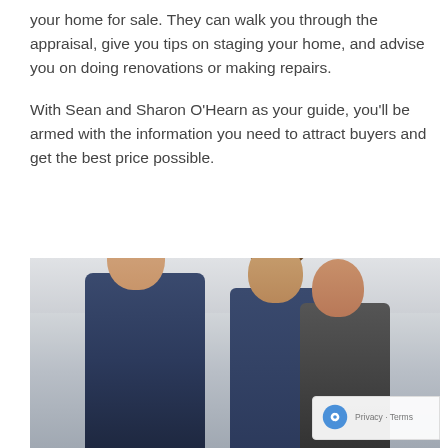your home for sale. They can walk you through the appraisal, give you tips on staging your home, and advise you on doing renovations or making repairs.
With Sean and Sharon O'Hearn as your guide, you'll be armed with the information you need to attract buyers and get the best price possible.
[Figure (photo): Three people (two men and a woman) gathered together looking at something, likely a document or tablet. The man on the left is wearing a suit and tie. They appear to be in a real estate consultation setting.]